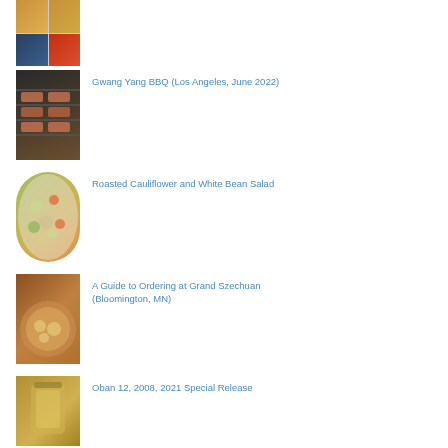[Figure (photo): Collage of four food photos - top wide shot of food, bottom left dark bowl, bottom right orange soup bowl]
[Figure (photo): Korean BBQ - raw meat cuts on grill grate]
Gwang Yang BBQ (Los Angeles, June 2022)
[Figure (photo): Roasted cauliflower and white bean salad in a white bowl]
Roasted Cauliflower and White Bean Salad
[Figure (photo): Szechuan dish in a bowl with broth]
A Guide to Ordering at Grand Szechuan (Bloomington, MN)
[Figure (photo): Oban 12 whisky in a glass jar]
Oban 12, 2008, 2021 Special Release